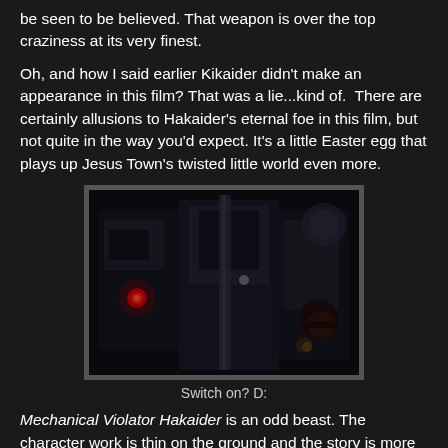be seen to be believed. That weapon is over the top craziness at its very finest.
Oh, and how I said earlier Kikaider didn't make an appearance in this film? That was a lie...kind of.  There are certainly allusions to Hakaider's eternal foe in this film, but not quite in the way you'd expect. It's a little Easter egg that plays up Jesus Town's twisted little world even more.
[Figure (screenshot): Dark screenshot from a film showing robotic/mechanical characters in a dark setting. A red glowing light is visible on the left side.]
Switch on? D:
Mechanical Violator Hakaider is an odd beast. The character work is thin on the ground and the story is more about symbology than it is depth, but as the credits roll you can't